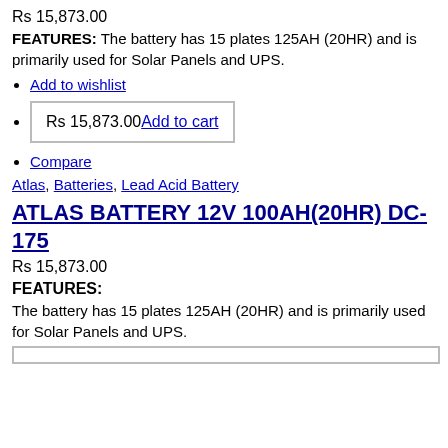Rs 15,873.00
FEATURES: The battery has 15 plates 125AH (20HR) and is primarily used for Solar Panels and UPS.
Add to wishlist
Rs 15,873.00 Add to cart
Compare
Atlas, Batteries, Lead Acid Battery
ATLAS BATTERY 12V 100AH(20HR) DC-175
Rs 15,873.00
FEATURES:
The battery has 15 plates 125AH (20HR) and is primarily used for Solar Panels and UPS.